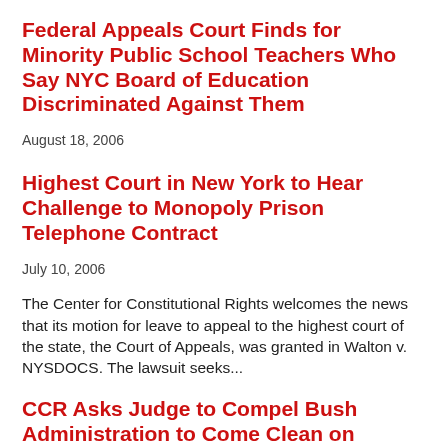Federal Appeals Court Finds for Minority Public School Teachers Who Say NYC Board of Education Discriminated Against Them
August 18, 2006
Highest Court in New York to Hear Challenge to Monopoly Prison Telephone Contract
July 10, 2006
The Center for Constitutional Rights welcomes the news that its motion for leave to appeal to the highest court of the state, the Court of Appeals, was granted in Walton v. NYSDOCS. The lawsuit seeks...
CCR Asks Judge to Compel Bush Administration to Come Clean on Detainees' Deaths
June 19, 2006
On June 19, 2006 the Center for Constitutional Rights